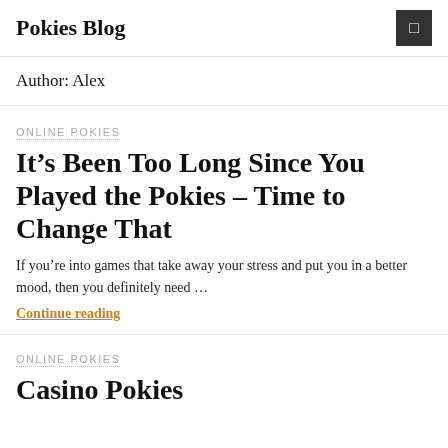Pokies Blog
Author: Alex
ONLINE POKIES
It's Been Too Long Since You Played the Pokies – Time to Change That
If you're into games that take away your stress and put you in a better mood, then you definitely need …
Continue reading
ONLINE POKIES
Casino Pokies